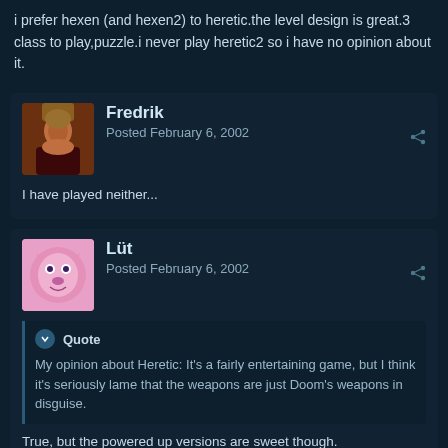i prefer hexen (and hexen2) to heretic.the level design is great.3 class to play,puzzle.i never play heretic2 so i have no opinion about it.
Fredrik
Posted February 6, 2002
I have played neither...
Lüt
Posted February 6, 2002
Quote
My opinion about Heretic: It's a fairly entertaining game, but I think it's seriously lame that the weapons are just Doom's weapons in disguise.
True, but the powered up versions are sweet though.
Quote